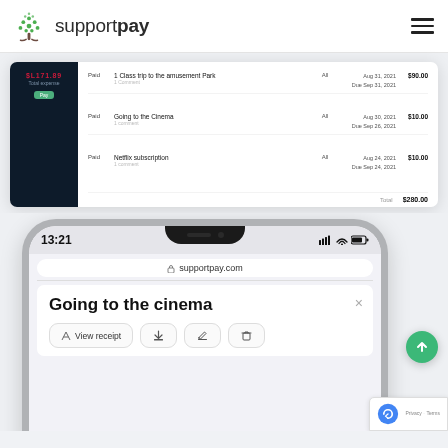[Figure (screenshot): SupportPay logo with tree icon and hamburger menu navigation bar]
[Figure (screenshot): SupportPay dashboard showing expense table with entries: Class trip to the amusement park (Paid, All, Aug 31 2021, $90.00), Going to the Cinema (Paid, All, Aug 30 2021, $10.00), Netflix subscription (Paid, All, Aug 24 2021, $10.00), Total $280.00]
[Figure (screenshot): Smartphone mockup showing supportpay.com website with 'Going to the cinema' expense panel open, displaying View receipt button and action icons, time 13:21]